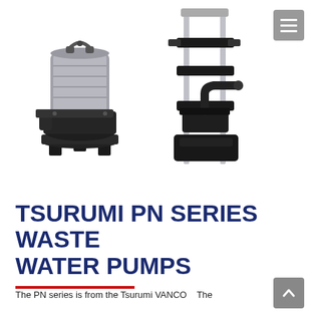[Figure (photo): Two Tsurumi PN series submersible waste water pumps. Left: a standalone compact submersible pump with a silver/grey cast metal motor housing and black cast iron base with feet. Right: a pump mounted on a vertical auto-coupling guide rail bracket system with black plastic discharge elbow.]
TSURUMI PN SERIES WASTE WATER PUMPS
The PN series is from the Tsurumi VANCO... The